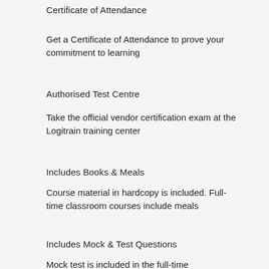Certificate of Attendance
Get a Certificate of Attendance to prove your commitment to learning
Authorised Test Centre
Take the official vendor certification exam at the Logitrain training center
Includes Books & Meals
Course material in hardcopy is included. Full-time classroom courses include meals
Includes Mock & Test Questions
Mock test is included in the full-time courses